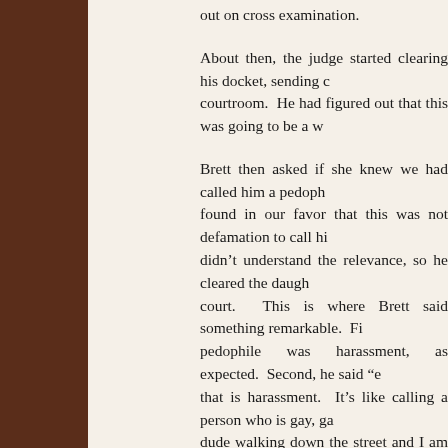out on cross examination.
About then, the judge started clearing his docket, sending c courtroom.  He had figured out that this was going to be a w
Brett then asked if she knew we had called him a pedoph found in our favor that this was not defamation to call hi didn't understand the relevance, so he cleared the daugh court.  This is where Brett said something remarkable.  Fi pedophile was harassment, as expected.  Second, he said "e that is harassment.  It's like calling a person who is gay, ga dude walking down the street and I am shouting after you, " over and over, yeah, that is harassing.  But simply writing i said to Will, this was further proof (as if I needed it), that B as simply an orientation, no different than being gay, anc everyone will agree that those opposed to pedophilic rel insulting to gay people, obviously, but it is what a continge and I believe Brett is one of them and that he agrees with th
In any case, Patrick made the point that this was an issue o v. John and Brett had to try to find a way to tie this b